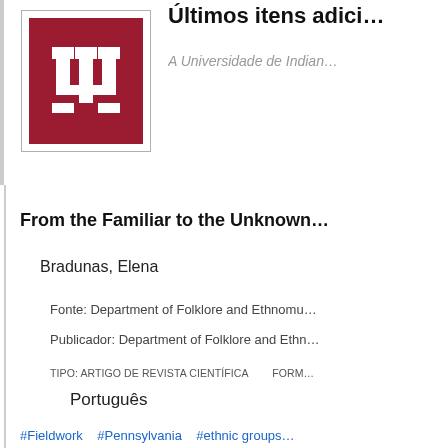[Figure (logo): Indiana University trident logo on crimson/red background inside a bordered box]
Últimos itens adici…
A Universidade de Indian…
From the Familiar to the Unknown…
Bradunas, Elena
Fonte: Department of Folklore and Ethnomu…
Publicador: Department of Folklore and Ethn…
TIPO: ARTIGO DE REVISTA CIENTÍFICA    FORM…
Português
#Fieldwork    #Pennsylvania    #ethnic groups…